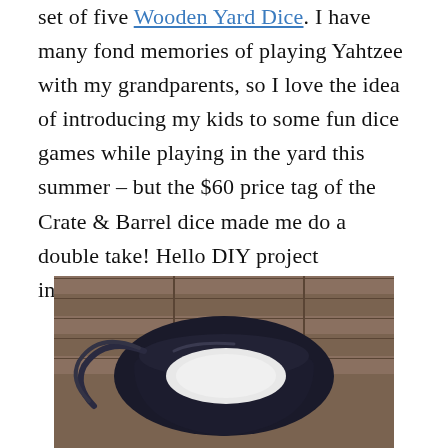set of five Wooden Yard Dice. I have many fond memories of playing Yahtzee with my grandparents, so I love the idea of introducing my kids to some fun dice games while playing in the yard this summer – but the $60 price tag of the Crate & Barrel dice made me do a double take! Hello DIY project inspiration!
[Figure (photo): A black drawstring bag sitting on a wooden bench/slats background. Photo shows the bag from above at an angle, with the white interior visible.]